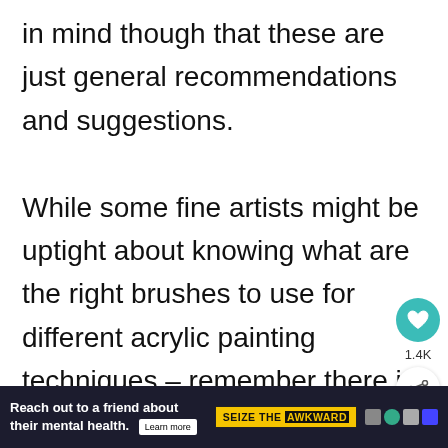in mind though that these are just general recommendations and suggestions.

While some fine artists might be uptight about knowing what are the right brushes to use for different acrylic painting techniques – remember there is no such thing a...
[Figure (other): Floating UI buttons: teal heart icon button, 1.4K count label, share icon button, and a dark grey bookmark/menu button]
Reach out to a friend about their mental health. Learn more | SEIZE THE AWKWARD